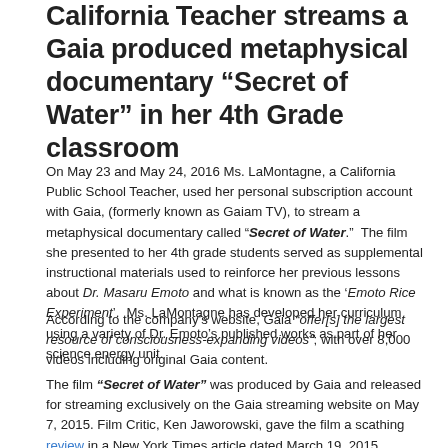California Teacher streams a Gaia produced metaphysical documentary “Secret of Water” in her 4th Grade classroom
On May 23 and May 24, 2016 Ms. LaMontagne, a California Public School Teacher, used her personal subscription account with Gaia, (formerly known as Gaiam TV), to stream a metaphysical documentary called “Secret of Water.”  The film she presented to her 4th grade students served as supplemental instructional materials used to reinforce her previous lessons about Dr. Masaru Emoto and what is known as the ‘Emoto Rice Experiment’.  Ms. LaMontagne has developed her curriculum using a variety of Dr. Emoto’s published works as part of her science energy unit.
According to the company’s website, Gaia “offer[s] the largest resource of consciousness-expanding videos”; with over 8,000 videos including original Gaia content.
The film “Secret of Water” was produced by Gaia and released for streaming exclusively on the Gaia streaming website on May 7, 2015. Film Critic, Ken Jaworowski, gave the film a scathing review in a New York Times article dated March 19, 2015.